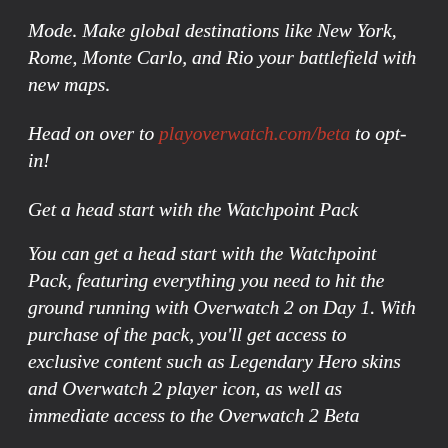Mode. Make global destinations like New York, Rome, Monte Carlo, and Rio your battlefield with new maps.
Head on over to playoverwatch.com/beta to opt-in!
Get a head start with the Watchpoint Pack
You can get a head start with the Watchpoint Pack, featuring everything you need to hit the ground running with Overwatch 2 on Day 1. With purchase of the pack, you'll get access to exclusive content such as Legendary Hero skins and Overwatch 2 player icon, as well as immediate access to the Overwatch 2 Beta